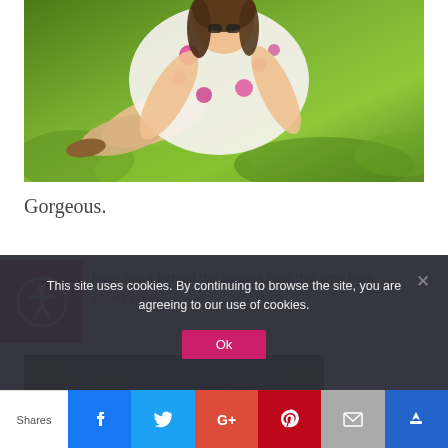[Figure (photo): Person sitting on green grass, wearing a floral white/pink dress]
Gorgeous.
[Figure (infographic): Accessibility icon on pink/magenta background (person with circle)]
have more behind the scenes here this time from Facebook Live!
[Figure (photo): Photo with stylized text reading 'franchable faces' with pink asterisk/flower logo]
This site uses cookies. By continuing to browse the site, you are agreeing to our use of cookies.
Ok
Shares